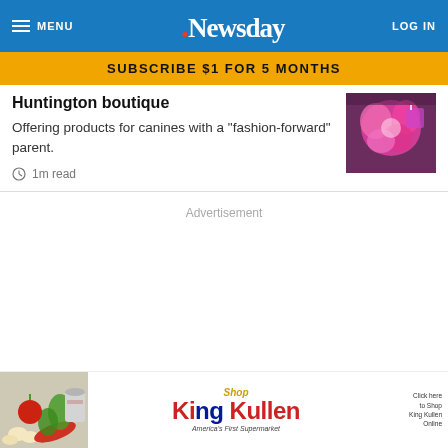MENU | Newsday | LOG IN
SUBSCRIBE $1 FOR 5 MONTHS
Huntington boutique
Offering products for canines with a "fashion-forward" parent.
1m read
[Figure (photo): Pink flower / dog accessory boutique product photo]
Advertisement
[Figure (photo): King Kullen supermarket advertisement banner showing groceries and logo]